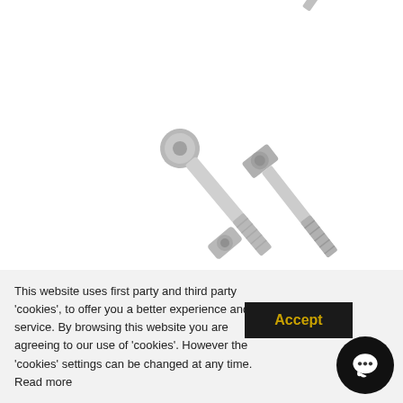[Figure (photo): Product photo of stainless steel caliper screws/bolts kit, multiple bolts arranged diagonally on white background]
In Stock
FORMULA R1 CALIPER SCREWS KIT (2012)
FORMULA
€22.00
This website uses first party and third party 'cookies', to offer you a better experience and service. By browsing this website you are agreeing to our use of 'cookies'. However the 'cookies' settings can be changed at any time. Read more